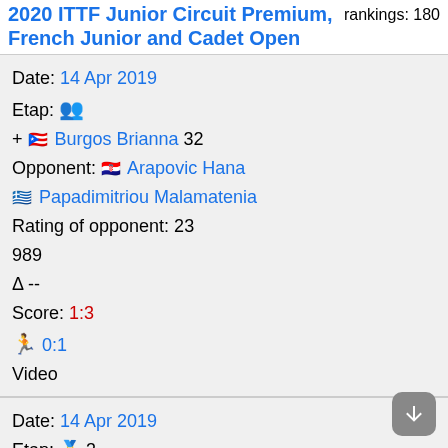2020 ITTF Junior Circuit Premium, French Junior and Cadet Open — rankings: 180
Date: 14 Apr 2019
Etap: [people icon]
+ [PR flag] Burgos Brianna 32
Opponent: [HR flag] Arapovic Hana / [GR flag] Papadimitriou Malamatenia
Rating of opponent: 23
989
Δ --
Score: 1:3
🏃 0:1
Video
Date: 14 Apr 2019
Etap: [person icon] 3
Opponent: [GB flag] Richards Beth
Rating of opponent: --
Δ --
Score: 3:0